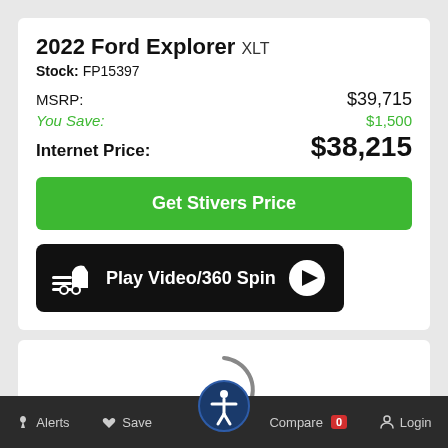2022 Ford Explorer XLT
Stock: FP15397
MSRP: $39,715
You Save: $1,500
Internet Price: $38,215
Get Stivers Price
[Figure (screenshot): Black button with car icon, text Play Video/360 Spin, and play button circle]
[Figure (screenshot): Loading spinner arc (partial circle) on white card background]
Alerts  Save  Compare 0  Login